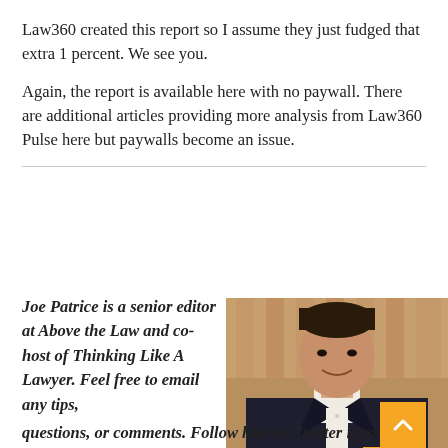Law360 created this report so I assume they just fudged that extra 1 percent. We see you.
Again, the report is available here with no paywall. There are additional articles providing more analysis from Law360 Pulse here but paywalls become an issue.
Joe Patrice is a senior editor at Above the Law and co-host of Thinking Like A Lawyer. Feel free to email any tips, questions, or comments. Follow him on Twitter if you're interested in law, politics, and a healthy dose of college sports news. Joe also serves as a Managing Director at
[Figure (photo): Headshot of Joe Patrice, a man in a dark suit jacket and white shirt, smiling, with wooden paneling in the background]